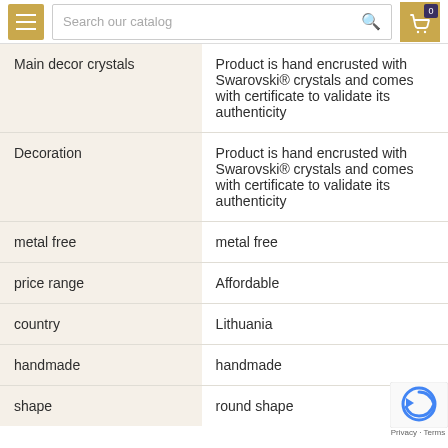Search our catalog
| Attribute | Value |
| --- | --- |
| Main decor crystals | Product is hand encrusted with Swarovski® crystals and comes with certificate to validate its authenticity |
| Decoration | Product is hand encrusted with Swarovski® crystals and comes with certificate to validate its authenticity |
| metal free | metal free |
| price range | Affordable |
| country | Lithuania |
| handmade | handmade |
| shape | round shape |